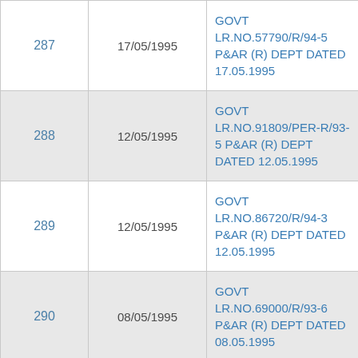|  | Date | Reference |
| --- | --- | --- |
| 287 | 17/05/1995 | GOVT LR.NO.57790/R/94-5 P&AR (R) DEPT DATED 17.05.1995 |
| 288 | 12/05/1995 | GOVT LR.NO.91809/PER-R/93-5 P&AR (R) DEPT DATED 12.05.1995 |
| 289 | 12/05/1995 | GOVT LR.NO.86720/R/94-3 P&AR (R) DEPT DATED 12.05.1995 |
| 290 | 08/05/1995 | GOVT LR.NO.69000/R/93-6 P&AR (R) DEPT DATED 08.05.1995 |
| 291 | 08/05/1995 | GOVT LR.NO.69001/R/93-8 P&AR (R) DEPT DATED 08.05.1995 |